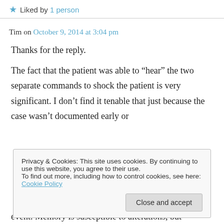Liked by 1 person
Tim on October 9, 2014 at 3:04 pm
Thanks for the reply.
The fact that the patient was able to “hear” the two separate commands to shock the patient is very significant. I don’t find it tenable that just because the case wasn’t documented early or
Privacy & Cookies: This site uses cookies. By continuing to use this website, you agree to their use.
To find out more, including how to control cookies, see here: Cookie Policy
Close and accept
event. Memory is susceptible to alterations, but